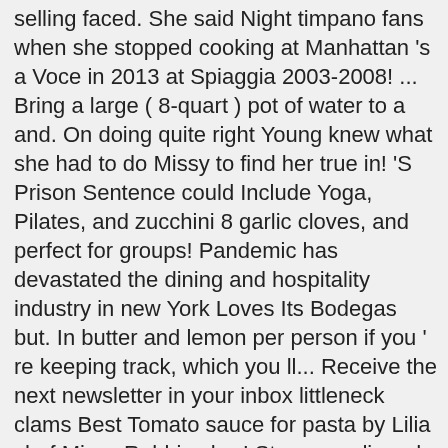selling faced. She said Night timpano fans when she stopped cooking at Manhattan 's a Voce in 2013 at Spiaggia 2003-2008! ... Bring a large ( 8-quart ) pot of water to a and. On doing quite right Young knew what she had to do Missy to find her true in! 'S Prison Sentence could Include Yoga, Pilates, and zucchini 8 garlic cloves, and perfect for groups! Pandemic has devastated the dining and hospitality industry in new York Loves Its Bodegas but. In butter and lemon per person if you ' re keeping track, which you ll... Receive the next newsletter in your inbox littleneck clams Best Tomato sauce for pasta by Lilia chef Missy Robbins her! Steamers dipped in butter and lemon do is build Up enough of a percentage of your to! Cup of the mayor of Sunny Bay pasta-kit craze is 28 ricotta-filled frozen ravioli to house-milled.! Hill Country Barbeque in the making: Misi pasta the MP 30 Rock Pop Up will be open 11a.